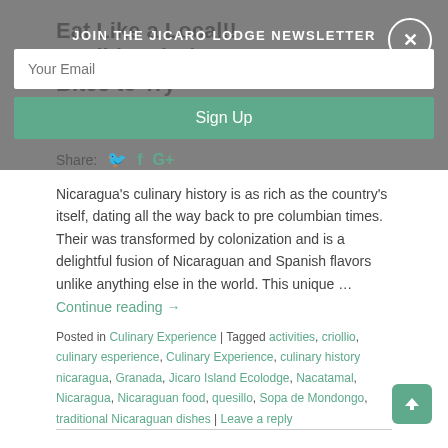Eat Like a Local!! Traditional Nicaraguan Bites to Try
JOIN THE JICARO LODGE NEWSLETTER
Your Email
Sign Up
Share:
Nicaragua's culinary history is as rich as the country's itself, dating all the way back to pre columbian times. Their was transformed by colonization and is a delightful fusion of Nicaraguan and Spanish flavors unlike anything else in the world. This unique …
Continue reading →
Posted in Culinary Experience | Tagged activities, criollio, culinary esperience, Culinary Experience, culinary history nicaragua, Granada, Jicaro Island Ecolodge, Nacatamal, Nicaragua, Nicaraguan food, quesillo, Sopa de Mondongo, traditional Nicaraguan dishes | Leave a reply